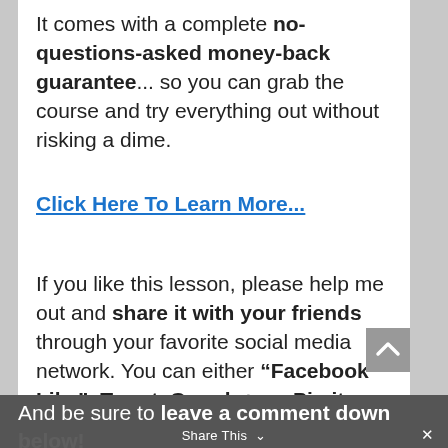It comes with a complete no-questions-asked money-back guarantee... so you can grab the course and try everything out without risking a dime.
Click Here To Learn More...
If you like this lesson, please help me out and share it with your friends through your favorite social media network. You can either "Facebook Like", Tweet, Google+, or Pin it.
And be sure to leave a comment down below!
Share This